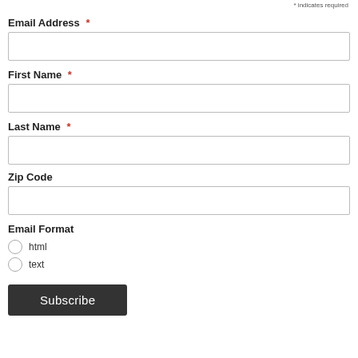* indicates required
Email Address *
First Name *
Last Name *
Zip Code
Email Format
html
text
Subscribe